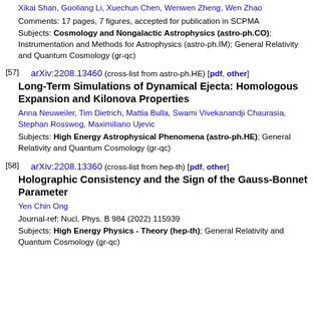Xikai Shan, Guoliang Li, Xuechun Chen, Wenwen Zheng, Wen Zhao
Comments: 17 pages, 7 figures, accepted for publication in SCPMA
Subjects: Cosmology and Nongalactic Astrophysics (astro-ph.CO); Instrumentation and Methods for Astrophysics (astro-ph.IM); General Relativity and Quantum Cosmology (gr-qc)
[57] arXiv:2208.13460 (cross-list from astro-ph.HE) [pdf, other]
Long-Term Simulations of Dynamical Ejecta: Homologous Expansion and Kilonova Properties
Anna Neuweiler, Tim Dietrich, Mattia Bulla, Swami Vivekanandji Chaurasia, Stephan Rosswog, Maximiliano Ujevic
Subjects: High Energy Astrophysical Phenomena (astro-ph.HE); General Relativity and Quantum Cosmology (gr-qc)
[58] arXiv:2208.13360 (cross-list from hep-th) [pdf, other]
Holographic Consistency and the Sign of the Gauss-Bonnet Parameter
Yen Chin Ong
Journal-ref: Nucl. Phys. B 984 (2022) 115939
Subjects: High Energy Physics - Theory (hep-th); General Relativity and Quantum Cosmology (gr-qc)